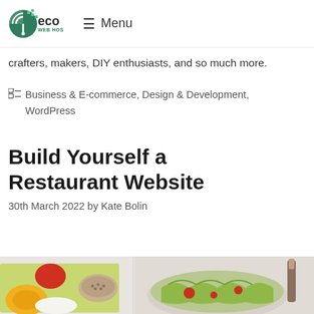[Figure (logo): Eco Web Hosting logo — green circular icon with leaf/wifi motif and 'eco WEB HOSTING' wordmark]
≡ Menu
crafters, makers, DIY enthusiasts, and so much more.
Business & E-commerce, Design & Development, WordPress
Build Yourself a Restaurant Website
30th March 2022 by Kate Bolin
[Figure (photo): Food photography showing vegetables, a bowl of salad, and ingredients on a light background]